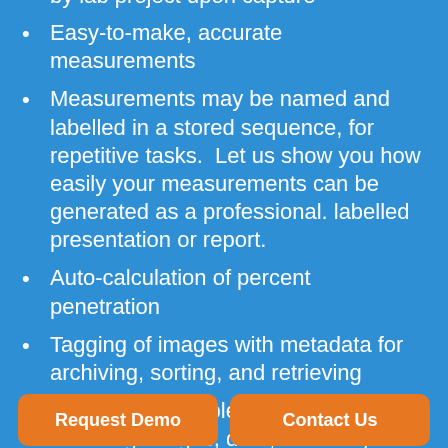by lab project upon capture
Easy-to-make, accurate measurements
Measurements may be named and labelled in a stored sequence, for repetitive tasks.  Let us show you how easily your measurements can be generated as a professional. labelled presentation or report.
Auto-calculation of percent penetration
Tagging of images with metadata for archiving, sorting, and retrieving
Easy, customizable report generation, including images, data, summary stats, and graphs
More than just line measurements!  Measure and cs